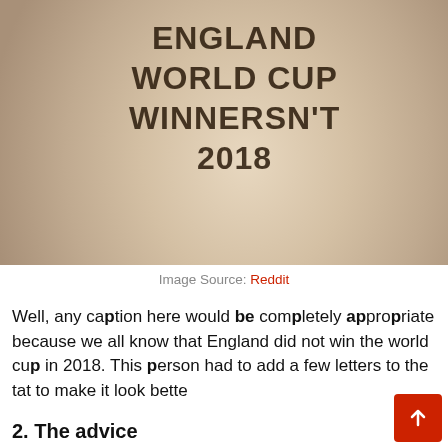[Figure (photo): Photo of a person's leg/knee with a tattoo reading 'ENGLAND WORLD CUP WINNERSN'T 2018', taken outdoors on stone pavement. The tattoo appears to have had letters added to change 'WINNERS' to 'WINNERSN'T'.]
Image Source: Reddit
Well, any caption here would be completely appropriate because we all know that England did not win the world cup in 2018. This person had to add a few letters to the tat to make it look bette
2. The advice